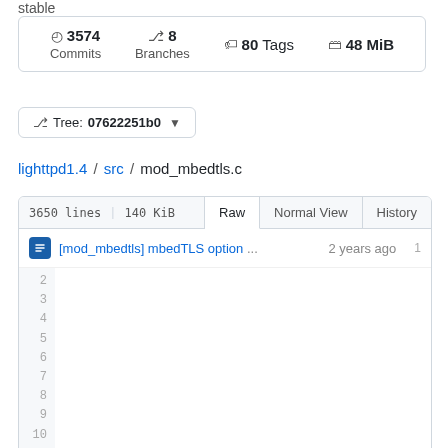stable
3574 Commits | 8 Branches | 80 Tags | 48 MiB
Tree: 07622251b0
lighttpd1.4 / src / mod_mbedtls.c
3650 lines | 140 KiB | Raw | Normal View | History
[mod_mbedtls] mbedTLS option ...2 years ago